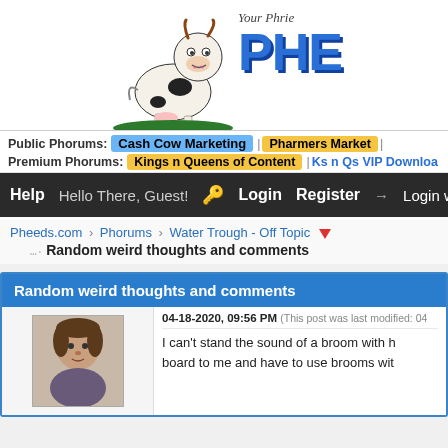[Figure (screenshot): Pheeds.com forum website header with cartoon cow logo, 'Your Phrie...' tagline, and 'PHE...' site name in large blue letters]
Public Phorums: Cash Cow Marketing | Pharmers Market | Premium Phorums: Kings n Queens of Content | Ks n Qs VIP Downloa...
Help  Hello There, Guest!  🔑 Login  Register → Login with F...
Pheeds.com › Phorums › Water Trough - Off Topic 🔻
Random weird thoughts and comments
Random weird thoughts and comments
04-18-2020, 09:56 PM (This post was last modified: 04...
I can't stand the sound of a broom with h... board to me and have to use brooms wit...